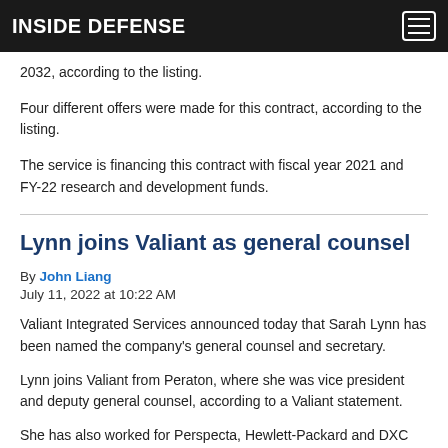INSIDE DEFENSE
2032, according to the listing.
Four different offers were made for this contract, according to the listing.
The service is financing this contract with fiscal year 2021 and FY-22 research and development funds.
Lynn joins Valiant as general counsel
By John Liang
July 11, 2022 at 10:22 AM
Valiant Integrated Services announced today that Sarah Lynn has been named the company's general counsel and secretary.
Lynn joins Valiant from Peraton, where she was vice president and deputy general counsel, according to a Valiant statement.
She has also worked for Perspecta, Hewlett-Packard and DXC